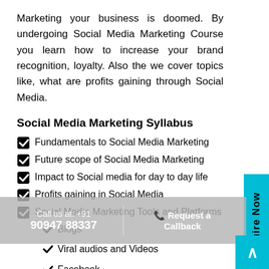Marketing your business is doomed. By undergoing Social Media Marketing Course you learn how to increase your brand recognition, loyalty. Also the we cover topics like, what are profits gaining through Social Media.
Social Media Marketing Syllabus
Fundamentals to Social Media Marketing
Future scope of Social Media Marketing
Impact to Social media for day to day life
Profits gaining in Social Media
Social Media Marketing Tools and Platforms
Blogs
Viral audios and Videos
Facebook
Twitter
LinkedIn
Wikipedia
Release in press